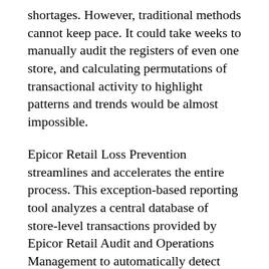shortages. However, traditional methods cannot keep pace. It could take weeks to manually audit the registers of even one store, and calculating permutations of transactional activity to highlight patterns and trends would be almost impossible.
Epicor Retail Loss Prevention streamlines and accelerates the entire process. This exception-based reporting tool analyzes a central database of store-level transactions provided by Epicor Retail Audit and Operations Management to automatically detect patterns of fraudulent activity. The module is designed to enable faster fraud identification, better case management, improved productivity, greater staff awareness, and higher profitability across the retail chain.